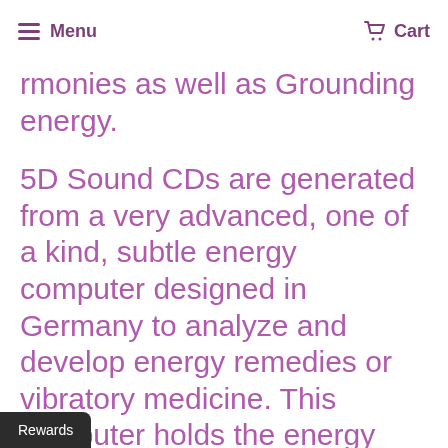Menu | Cart
...rmonies as well as Grounding energy.
5D Sound CDs are generated from a very advanced, one of a kind, subtle energy computer designed in Germany to analyze and develop energy remedies or vibratory medicine. This computer holds the energy field of any
Rewards